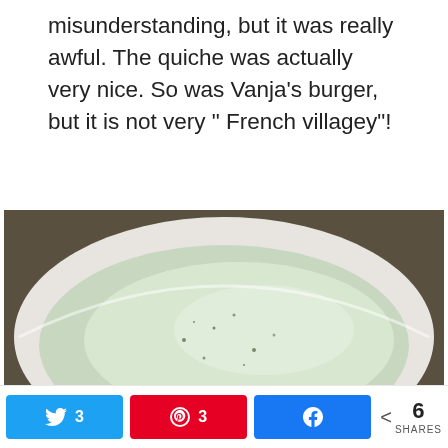misunderstanding, but it was really awful. The quiche was actually very nice. So was Vanja's burger, but it is not very " French villagey"!
[Figure (photo): A white bowl containing pale green soup, likely a cream-based soup with herbs or vegetables, seen from above at a slight angle.]
[Figure (photo): A plate with a slice of quiche and fresh green lettuce/salad leaves beside it.]
3  3  6 SHARES